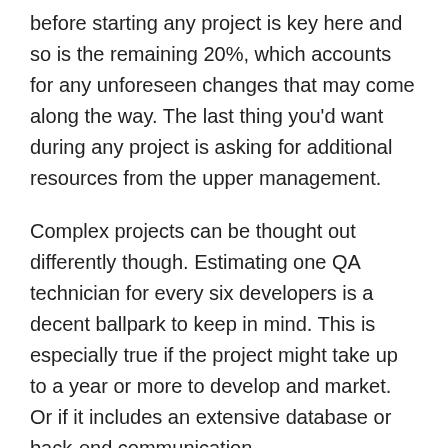before starting any project is key here and so is the remaining 20%, which accounts for any unforeseen changes that may come along the way. The last thing you'd want during any project is asking for additional resources from the upper management.
Complex projects can be thought out differently though. Estimating one QA technician for every six developers is a decent ballpark to keep in mind. This is especially true if the project might take up to a year or more to develop and market. Or if it includes an extensive database or back-end communication.
QA staffing to start early in the schedule